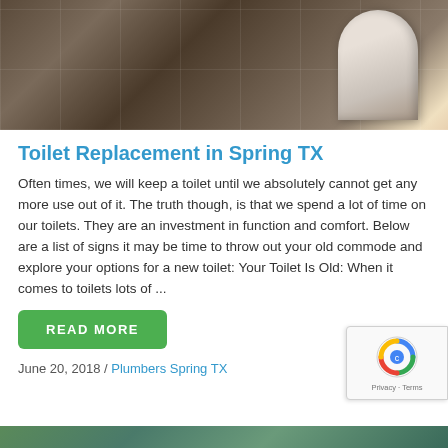[Figure (photo): Bathroom with dark tile walls and a white toilet visible in the upper right corner]
Toilet Replacement in Spring TX
Often times, we will keep a toilet until we absolutely cannot get any more use out of it. The truth though, is that we spend a lot of time on our toilets. They are an investment in function and comfort. Below are a list of signs it may be time to throw out your old commode and explore your options for a new toilet: Your Toilet Is Old: When it comes to toilets lots of ...
READ MORE
June 20, 2018 / Plumbers Spring TX
[Figure (photo): Partial bottom image showing green tiled background]